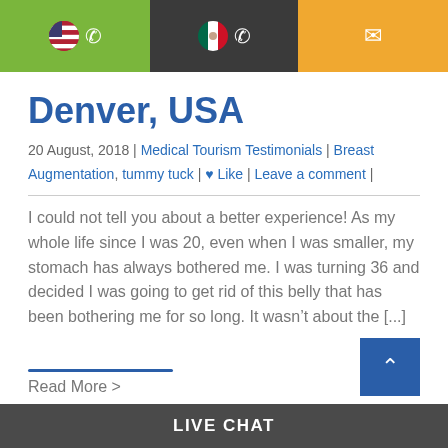[Figure (other): Top navigation bar with US flag + phone (green), Mexico flag + phone (dark), and email icon (orange)]
Denver, USA
20 August, 2018 | Medical Tourism Testimonials | Breast Augmentation, tummy tuck | ♥ Like | Leave a comment |
I could not tell you about a better experience! As my whole life since I was 20, even when I was smaller, my stomach has always bothered me. I was turning 36 and decided I was going to get rid of this belly that has been bothering me for so long. It wasn't about the [...]
Read More >
LIVE CHAT